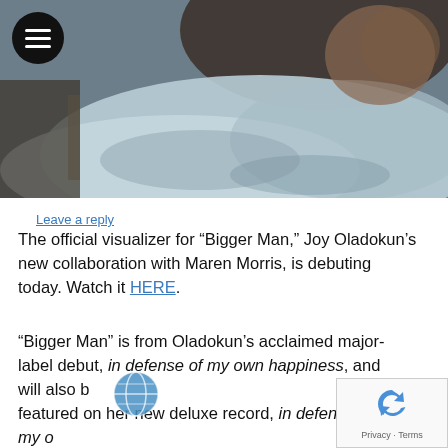[Figure (photo): A close-up photo of a person resting their head on their arm, wearing a light blue/grey hoodie. The background is dark. A hamburger menu icon (three white lines on a black circle) is visible in the top-left corner of the photo.]
Leave a reply
The official visualizer for “Bigger Man,” Joy Oladokun’s new collaboration with Maren Morris, is debuting today. Watch it HERE.
“Bigger Man” is from Oladokun’s acclaimed major-label debut, in defense of my own happiness, and will also b featured on her new deluxe record, in defense of my o happiness (complete), out next Friday, July 9 via Amigo